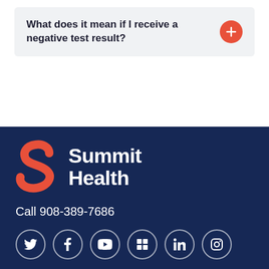What does it mean if I receive a negative test result?
[Figure (logo): Summit Health logo with red S symbol and white text on dark navy background]
Call 908-389-7686
[Figure (infographic): Social media icons in circular outlines: Twitter, Facebook, YouTube, Vimeo/Slideshare, LinkedIn, Instagram]